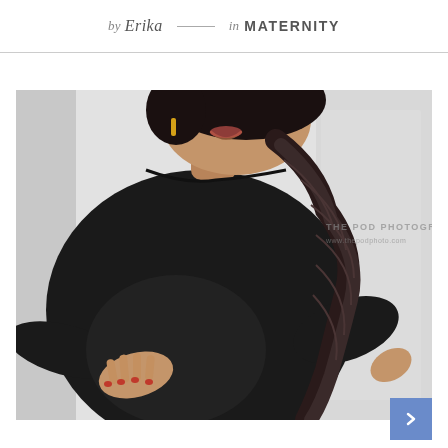by Erika — in MATERNITY
[Figure (photo): Maternity photo of a pregnant woman in a black long-sleeve dress with a fishtail braid, hand on belly, smiling, against a light grey/white background. Watermark reads 'THE POD PHOTOGRAPHY www.thepodphoto.com']